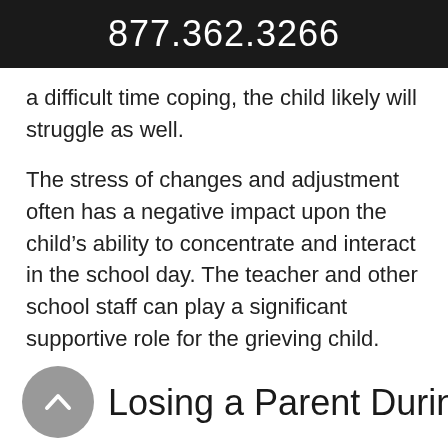877.362.3266
a difficult time coping, the child likely will struggle as well.
The stress of changes and adjustment often has a negative impact upon the child’s ability to concentrate and interact in the school day. The teacher and other school staff can play a significant supportive role for the grieving child.
Losing a Parent During the